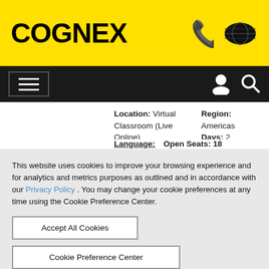COGNEX
Location: Virtual Classroom (Live Online)
Region: Americas
Days: 2
Language:
Open Seats: 18
This website uses cookies to improve your browsing experience and for analytics and metrics purposes as outlined and in accordance with our Privacy Policy . You may change your cookie preferences at any time using the Cookie Preference Center.
Accept All Cookies
Cookie Preference Center